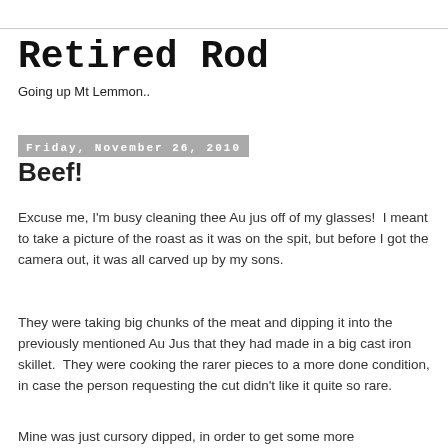Retired Rod
Going up Mt Lemmon..
Friday, November 26, 2010
Beef!
Excuse me, I'm busy cleaning thee Au jus off of my glasses!  I meant to take a picture of the roast as it was on the spit, but before I got the camera out, it was all carved up by my sons.
They were taking big chunks of the meat and dipping it into the previously mentioned Au Jus that they had made in a big cast iron skillet.  They were cooking the rarer pieces to a more done condition, in case the person requesting the cut didn't like it quite so rare.
Mine was just cursory dipped, in order to get some more